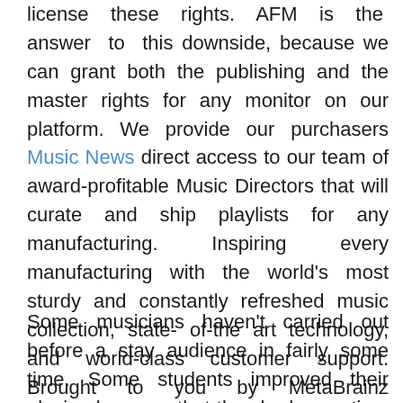license these rights. AFM is the answer to this downside, because we can grant both the publishing and the master rights for any monitor on our platform. We provide our purchasers Music News direct access to our team of award-profitable Music Directors that will curate and ship playlists for any manufacturing. Inspiring every manufacturing with the world's most sturdy and constantly refreshed music collection, state-of-the art technology, and world-class customer support. Brought to you by MetaBrainz Foundation and our sponsors and supporters.
Some musicians haven't carried out before a stay audience in fairly some time. Some students improved their playing because that they had more time to practice. But from the outside, it is indebitable...